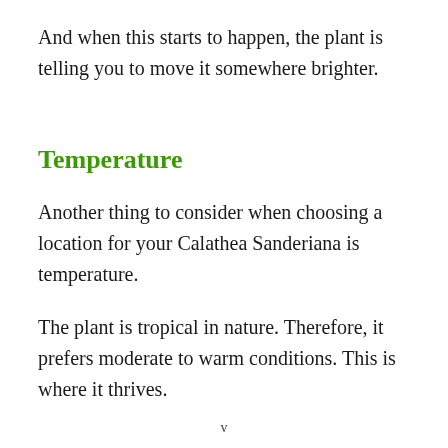And when this starts to happen, the plant is telling you to move it somewhere brighter.
Temperature
Another thing to consider when choosing a location for your Calathea Sanderiana is temperature.
The plant is tropical in nature. Therefore, it prefers moderate to warm conditions. This is where it thrives.
v